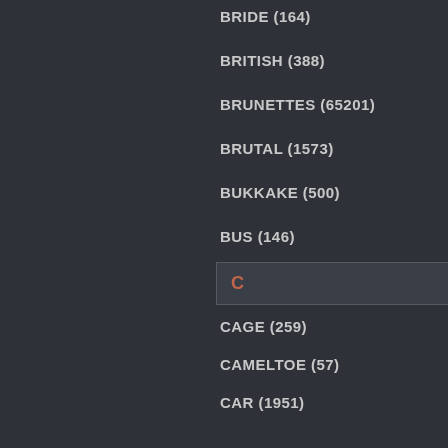BRIDE (164)
BRITISH (388)
BRUNETTES (65201)
BRUTAL (1573)
BUKKAKE (500)
BUS (146)
C
CAGE (259)
CAMELTOE (57)
CAR (1951)
CASTING (1781)
CAUGHT (2379)
CELEBRITIES (159)
CFNM (209)
CHEATING (3493)